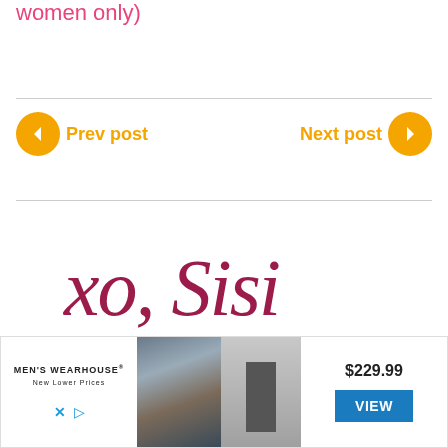women only)
Prev post
Next post
[Figure (illustration): Handwritten cursive signature reading 'xo, Sisi' in dark pink/maroon color]
[Figure (photo): Men's Wearhouse advertisement showing a couple in formal wear, a man in suit thumbnail, price $229.99 and VIEW button]